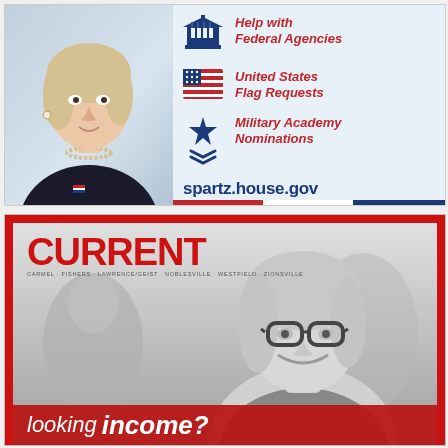[Figure (infographic): Congressional representative advertisement showing a woman's photo on left, with three service icons and text on right: Help with Federal Agencies (building icon), United States Flag Requests (flag icon), Military Academy Nominations (star and chevron icons), and website spartz.house.gov]
[Figure (infographic): Current magazine advertisement with red border, CURRENT logo in red, subtitle listing multiple Indiana towns (Carmel, Fishers, Lawrence/Geist, Noblesville, Westfield, Zionsville), black and white photo of smiling woman with glasses, and text 'looking income?' at bottom in white on red background]